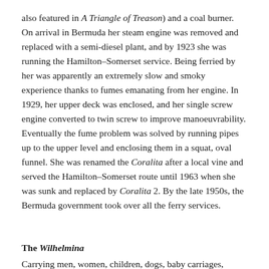also featured in A Triangle of Treason) and a coal burner. On arrival in Bermuda her steam engine was removed and replaced with a semi-diesel plant, and by 1923 she was running the Hamilton–Somerset service. Being ferried by her was apparently an extremely slow and smoky experience thanks to fumes emanating from her engine. In 1929, her upper deck was enclosed, and her single screw engine converted to twin screw to improve manoeuvrability. Eventually the fume problem was solved by running pipes up to the upper level and enclosing them in a squat, oval funnel. She was renamed the Coralita after a local vine and served the Hamilton–Somerset route until 1963 when she was sunk and replaced by Coralita 2. By the late 1950s, the Bermuda government took over all the ferry services.
The Wilhelmina
Carrying men, women, children, dogs, baby carriages, bicycles, parcels and one Royal Mail bag, the Wilhelmina was a common